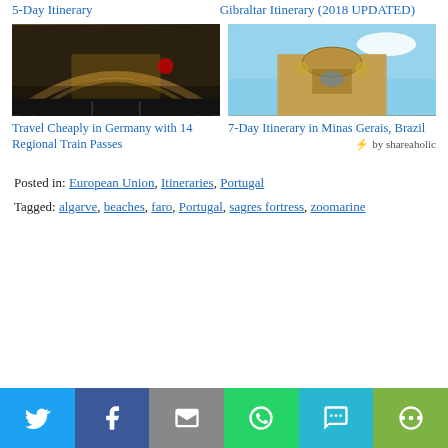5-Day Itinerary
Gibraltar Itinerary (2018 UPDATED)
[Figure (photo): Train station with glass arched roof illuminated at dusk]
Travel Cheaply in Germany with 14 Regional Train Passes
[Figure (photo): Baroque church facade against blue sky, Minas Gerais Brazil]
7-Day Itinerary in Minas Gerais, Brazil
by shareaholic
Posted in: European Union, Itineraries, Portugal
Tagged: algarve, beaches, faro, Portugal, sagres fortress, zoomarine
[Figure (infographic): Social sharing bar with Twitter, Facebook, Email, WhatsApp, SMS, More buttons]